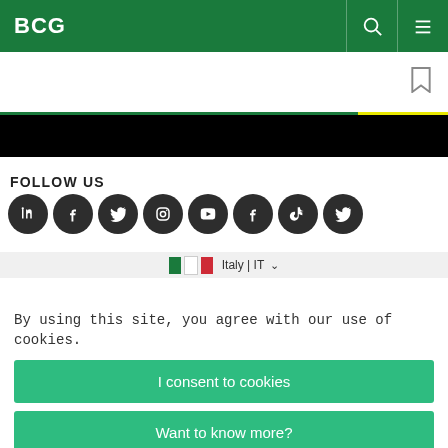BCG
[Figure (logo): BCG logo in white on dark green header with search and menu icons]
FOLLOW US
[Figure (infographic): Row of 8 social media icons: LinkedIn, Facebook, Twitter, Instagram, YouTube, Facebook, TikTok, Twitter]
Italy | IT
By using this site, you agree with our use of cookies.
I consent to cookies
Want to know more?
Read our Cookie Policy